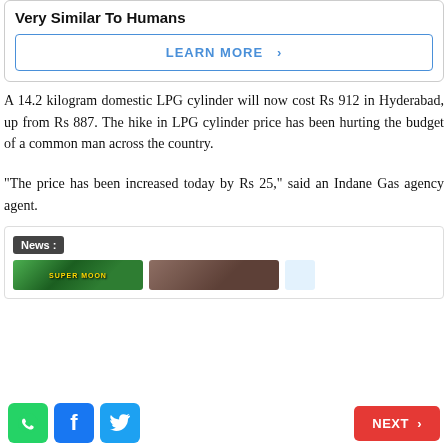Very Similar To Humans
LEARN MORE >
A 14.2 kilogram domestic LPG cylinder will now cost Rs 912 in Hyderabad, up from Rs 887. The hike in LPG cylinder price has been hurting the budget of a common man across the country.
"The price has been increased today by Rs 25," said an Indane Gas agency agent.
[Figure (screenshot): News widget with 'News :' label and thumbnail images below it]
WhatsApp | Facebook | Twitter social share buttons and NEXT > button